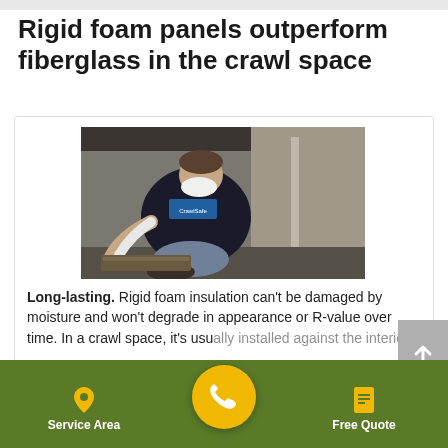Rigid foam panels outperform fiberglass in the crawl space
[Figure (photo): A worker wearing a mask and CrawlSafe branded shirt crouching and working inside a crawl space, installing or removing insulation material against concrete walls.]
Long-lasting. Rigid foam insulation can't be damaged by moisture and won't degrade in appearance or R-value over time. In a crawl space, it's usually installed against the interior
Service Area  [phone]  Free Quote